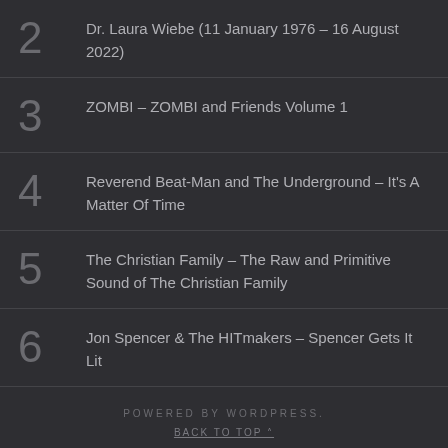2  Dr. Laura Wiebe (11 January 1976 – 16 August 2022)
3  ZOMBI – ZOMBI and Friends Volume 1
4  Reverend Beat-Man and The Underground – It's A Matter Of Time
5  The Christian Family – The Raw and Primitive Sound of The Christian Family
6  Jon Spencer & The HITmakers – Spencer Gets It Lit
POWERED BY WORDPRESS.
BACK TO TOP ˄